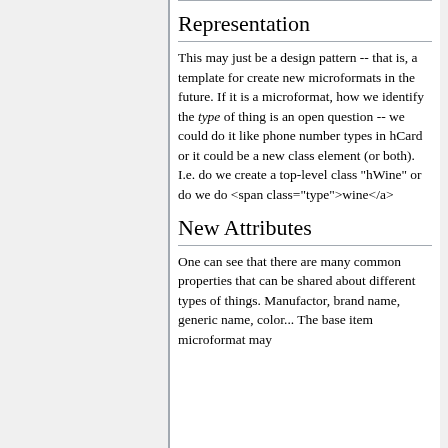Representation
This may just be a design pattern -- that is, a template for create new microformats in the future. If it is a microformat, how we identify the type of thing is an open question -- we could do it like phone number types in hCard or it could be a new class element (or both). I.e. do we create a top-level class "hWine" or do we do <span class="type">wine</a>
New Attributes
One can see that there are many common properties that can be shared about different types of things. Manufactor, brand name, generic name, color... The base item microformat may